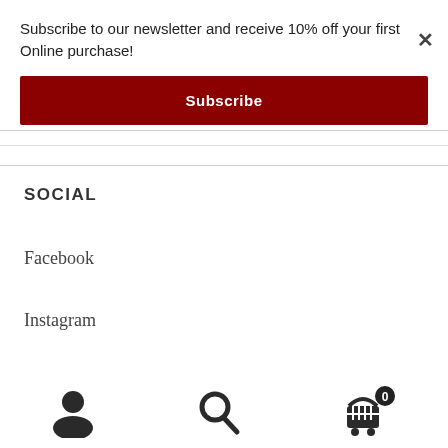Subscribe to our newsletter and receive 10% off your first Online purchase!
Subscribe
SOCIAL
Facebook
Instagram
[Figure (infographic): Bottom navigation bar with user/account icon, search icon, and shopping cart icon with badge showing 0]